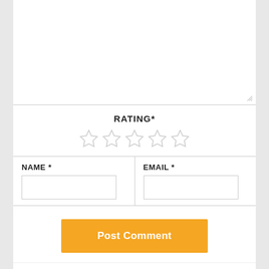[Figure (screenshot): Empty textarea input box with resize handle at bottom-right]
RATING*
[Figure (other): Five empty star rating icons]
NAME *
EMAIL *
[Figure (screenshot): Name input text field (empty)]
[Figure (screenshot): Email input text field (empty)]
Post Comment
This site uses Akismet to reduce spam. Learn how your